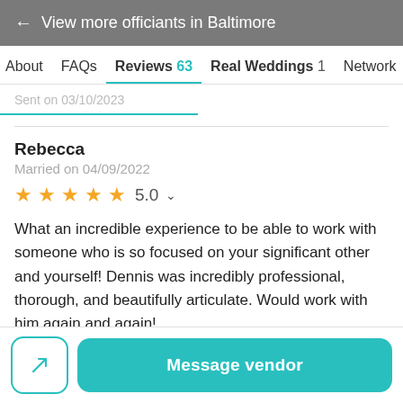← View more officiants in Baltimore
About   FAQs   Reviews 63   Real Weddings 1   Network
Sent on 03/10/2023
Rebecca
Married on 04/09/2022
★★★★★ 5.0
What an incredible experience to be able to work with someone who is so focused on your significant other and yourself! Dennis was incredibly professional, thorough, and beautifully articulate. Would work with him again and again!
Message vendor